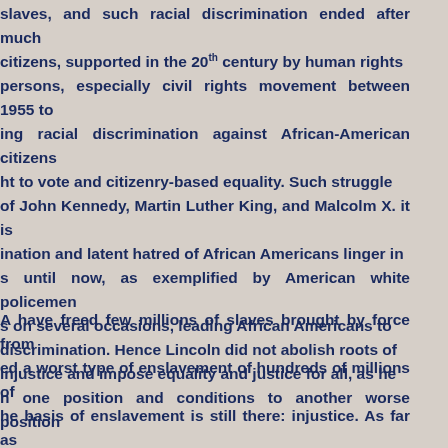slaves, and such racial discrimination ended after much citizens, supported in the 20th century by human rights persons, especially civil rights movement between 1955 to ing racial discrimination against African-American citizens ht to vote and citizenry-based equality. Such struggle of John Kennedy, Martin Luther King, and Malcolm X. it is ination and latent hatred of African Americans linger in s until now, as exemplified by American white policemen s on several occasions, leading African Americans to discrimination. Hence Lincoln did not abolish roots of injustice and impose equality and justice for all, as he n one position and conditions to another worse position
A have freed few millions of slaves brought by force from ed a worst type of enslavement of hundreds of millions of he basis of enslavement is still there: injustice. As far as an has fought and prohibited all types of injustices and Europe at the time has made injustice as the creed of all